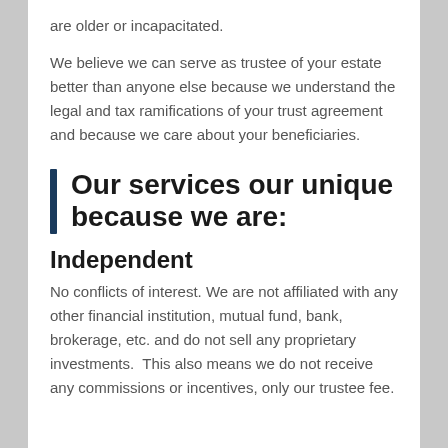are older or incapacitated.
We believe we can serve as trustee of your estate better than anyone else because we understand the legal and tax ramifications of your trust agreement and because we care about your beneficiaries.
Our services our unique because we are:
Independent
No conflicts of interest. We are not affiliated with any other financial institution, mutual fund, bank, brokerage, etc. and do not sell any proprietary investments.  This also means we do not receive any commissions or incentives, only our trustee fee.